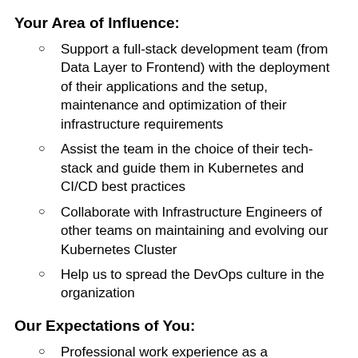Your Area of Influence:
Support a full-stack development team (from Data Layer to Frontend) with the deployment of their applications and the setup, maintenance and optimization of their infrastructure requirements
Assist the team in the choice of their tech-stack and guide them in Kubernetes and CI/CD best practices
Collaborate with Infrastructure Engineers of other teams on maintaining and evolving our Kubernetes Cluster
Help us to spread the DevOps culture in the organization
Our Expectations of You:
Professional work experience as a